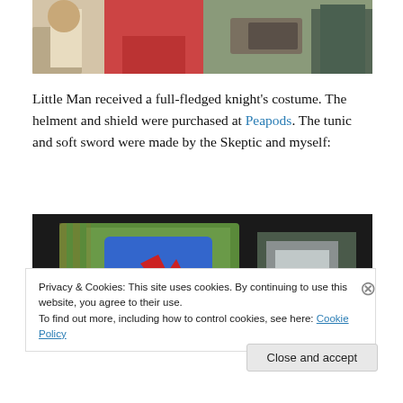[Figure (photo): Partial photo showing people's legs and clothing, with gift wrapping visible, cropped at top]
Little Man received a full-fledged knight's costume. The helment and shield were purchased at Peapods. The tunic and soft sword were made by the Skeptic and myself:
[Figure (photo): Photo of a blue tunic/shirt with red design on it, laid on a wicker surface with other items in background]
Privacy & Cookies: This site uses cookies. By continuing to use this website, you agree to their use.
To find out more, including how to control cookies, see here: Cookie Policy